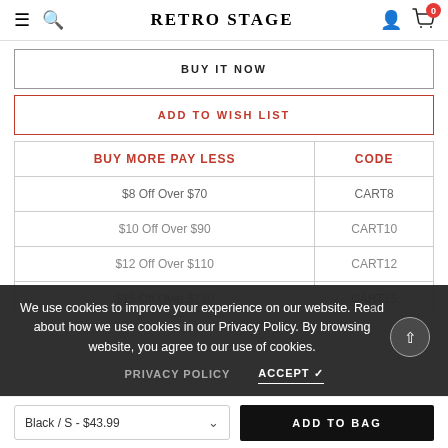RETRO STAGE
BUY IT NOW
ADD TO WISH LIST
| BUY MORE PAY LESS | CODE |
| --- | --- |
| $8 Off Over $70 | CART8 |
| $10 Off Over $90 | CART10 |
| $12 Off Over $110 | CART12 |
| $15 Off Over $130 | CART15 |
We use cookies to improve your experience on our website. Read about how we use cookies in our Privacy Policy. By browsing the website, you agree to our use of cookies.
PRIVACY POLICY   ACCEPT ✓
Black / S - $43.99   ADD TO BAG